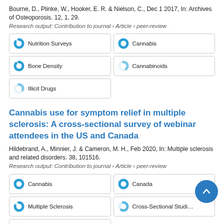Bourne, D., Plinke, W., Hooker, E. R. & Nielson, C., Dec 1 2017, In: Archives of Osteoporosis. 12, 1, 29.
Research output: Contribution to journal › Article › peer-review
Nutrition Surveys
Cannabis
Bone Density
Cannabinoids
Illicit Drugs
Cannabis use for symptom relief in multiple sclerosis: A cross-sectional survey of webinar attendees in the US and Canada
Hildebrand, A., Minnier, J. & Cameron, M. H., Feb 2020, In: Multiple sclerosis and related disorders. 38, 101516.
Research output: Contribution to journal › Article › peer-review
Cannabis
Canada
Multiple Sclerosis
Cross-Sectional Studies
Jurisprudence